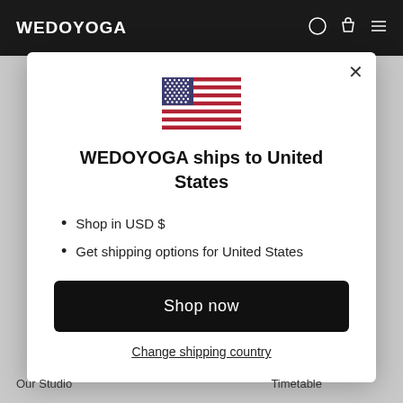WEDOYOGA
[Figure (illustration): US flag emoji/icon centered in modal]
WEDOYOGA ships to United States
Shop in USD $
Get shipping options for United States
Shop now
Change shipping country
Our Studio    Timetable